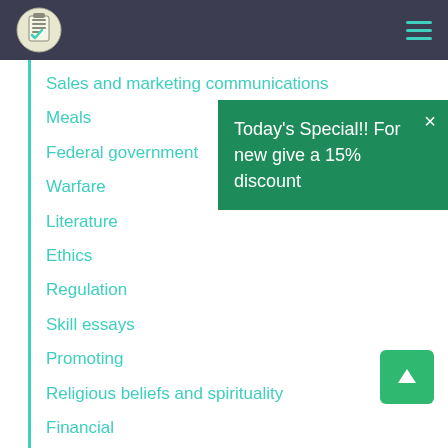Navigation bar with logo and hamburger menu
Sales and marketing communications
Meals
Federal government
Warfare
Literature
Ethics
Regulation
Skill essays
Promoting
Religious beliefs and spirituality
Financial
Social issues
Today's Special!! For new give a 15% discount